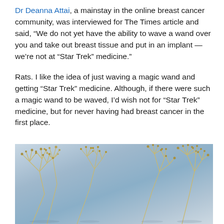Dr Deanna Attai, a mainstay in the online breast cancer community, was interviewed for The Times article and said, “We do not yet have the ability to wave a wand over you and take out breast tissue and put in an implant — we’re not at “Star Trek” medicine.”
Rats. I like the idea of just waving a magic wand and getting “Star Trek” medicine. Although, if there were such a magic wand to be waved, I’d wish not for “Star Trek” medicine, but for never having had breast cancer in the first place.
[Figure (photo): Photo of dried wildflower seedheads (possibly Queen Anne’s Lace or similar umbellifers) lying on a light grey/blue surface, with delicate branching stems and small round seedhead clusters visible.]